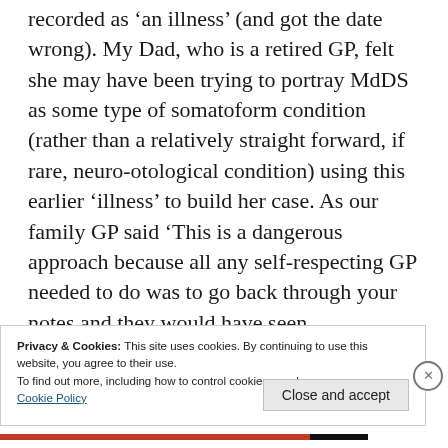recorded as ‘an illness’ (and got the date wrong). My Dad, who is a retired GP, felt she may have been trying to portray MdDS as some type of somatoform condition (rather than a relatively straight forward, if rare, neuro-otological condition) using this earlier ‘illness’ to build her case. As our family GP said ‘This is a dangerous approach because all any self-respecting GP needed to do was to go back through your notes and they would have seen
Privacy & Cookies: This site uses cookies. By continuing to use this website, you agree to their use.
To find out more, including how to control cookies, see here:
Cookie Policy
Close and accept